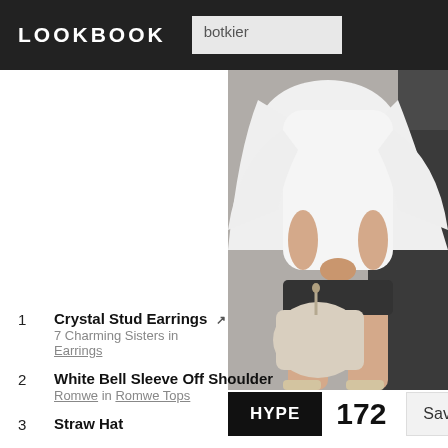LOOKBOOK  botkier
[Figure (photo): Fashion photo: woman in white bell sleeve off-shoulder top and shorts, holding a light beige/cream tote handbag, seated, wearing beige ankle strap heels, cropped to show torso and legs]
HYPE  172  Sav
1  Crystal Stud Earrings  7 Charming Sisters in Earrings
2  White Bell Sleeve Off Shoulder  Romwe in Romwe Tops
3  Straw Hat